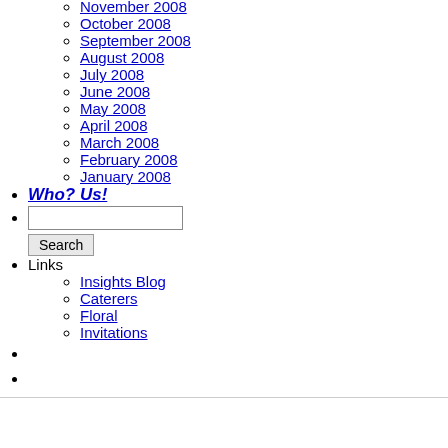November 2008
October 2008
September 2008
August 2008
July 2008
June 2008
May 2008
April 2008
March 2008
February 2008
January 2008
Who? Us!
[search box]
Links
Insights Blog
Caterers
Floral
Invitations